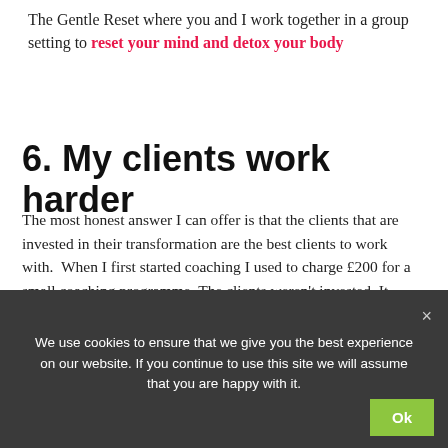The Gentle Reset where you and I work together in a group setting to reset your mind and detox your body
6. My clients work harder
The most honest answer I can offer is that the clients that are invested in their transformation are the best clients to work with.  When I first started coaching I used to charge £200 for a small coaching programme. The clients weren't invested. It sounds strange but there simply wasn't enough 'skin' in their investment. Nobody can afford to throw £200 away, but we all do
We use cookies to ensure that we give you the best experience on our website. If you continue to use this site we will assume that you are happy with it.